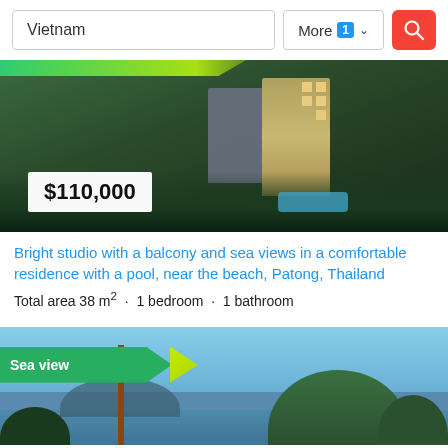[Figure (screenshot): Search bar with Vietnam text input, More filter button with badge 1, and red search button]
[Figure (photo): Aerial view of a modern residential building complex with pool surrounded by trees, price badge $110,000 overlaid]
Bright studio with a balcony and sea views in a comfortable residence with a pool, near the beach, Patong, Thailand
Total area 38 m² · 1 bedroom · 1 bathroom
[Figure (photo): Coastal sea view with hills covered in green trees, blue sky, and a wooden pole in the foreground. Sea view banner overlay.]